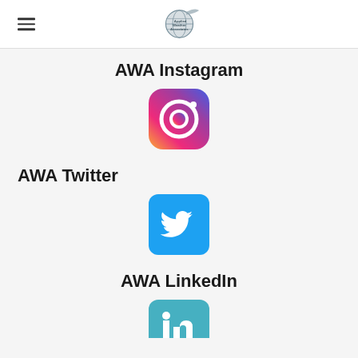Applied Weather Associates logo and hamburger menu
AWA Instagram
[Figure (logo): Instagram logo icon - colorful gradient rounded square with camera outline]
AWA Twitter
[Figure (logo): Twitter logo icon - blue rounded square with white bird]
AWA LinkedIn
[Figure (logo): LinkedIn logo icon - teal/blue rounded square partially visible]